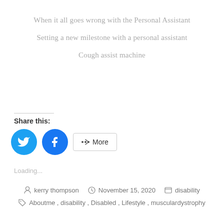When it all goes wrong with the Personal Assistant
Setting a new milestone with a personal assistant
Cough assist machine
Share this:
Loading...
kerry thompson  November 15, 2020  disability
Aboutme , disability , Disabled , Lifestyle , musculardystrophy